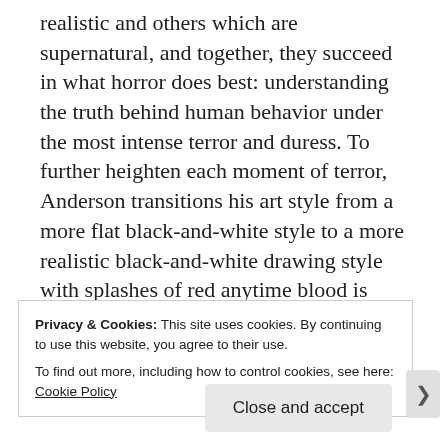realistic and others which are supernatural, and together, they succeed in what horror does best: understanding the truth behind human behavior under the most intense terror and duress. To further heighten each moment of terror, Anderson transitions his art style from a more flat black-and-white style to a more realistic black-and-white drawing style with splashes of red anytime blood is spilled, making each moment of violence more painful for the reader and for our grim reaper as well.
Privacy & Cookies: This site uses cookies. By continuing to use this website, you agree to their use.
To find out more, including how to control cookies, see here: Cookie Policy
Close and accept